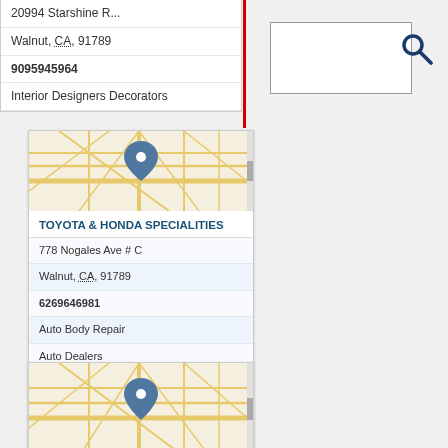20994 Starshine R...
Walnut, CA, 91789
9095945964
Interior Designers Decorators
[Figure (map): Street map thumbnail showing intersection with blue location pin marker]
TOYOTA & HONDA SPECIALITIES
778 Nogales Ave # C
Walnut, CA, 91789
6269646981
Auto Body Repair
Auto Dealers
Auto Repair & Service
Auto Repair Service
Auto Repair Shops
[Figure (map): Street map thumbnail showing intersection with blue location pin marker]